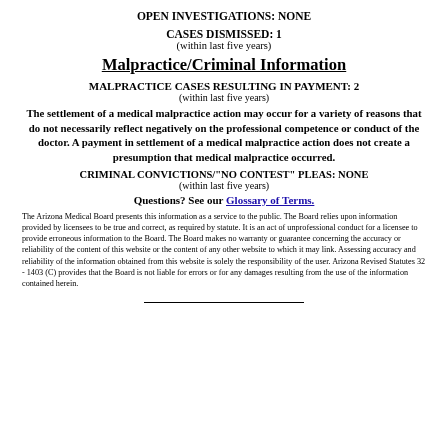OPEN INVESTIGATIONS: NONE
CASES DISMISSED: 1
(within last five years)
Malpractice/Criminal Information
MALPRACTICE CASES RESULTING IN PAYMENT: 2
(within last five years)
The settlement of a medical malpractice action may occur for a variety of reasons that do not necessarily reflect negatively on the professional competence or conduct of the doctor. A payment in settlement of a medical malpractice action does not create a presumption that medical malpractice occurred.
CRIMINAL CONVICTIONS/"NO CONTEST" PLEAS: NONE
(within last five years)
Questions? See our Glossary of Terms.
The Arizona Medical Board presents this information as a service to the public. The Board relies upon information provided by licensees to be true and correct, as required by statute. It is an act of unprofessional conduct for a licensee to provide erroneous information to the Board. The Board makes no warranty or guarantee concerning the accuracy or reliability of the content of this website or the content of any other website to which it may link. Assessing accuracy and reliability of the information obtained from this website is solely the responsibility of the user. Arizona Revised Statutes 32 - 1403 (C) provides that the Board is not liable for errors or for any damages resulting from the use of the information contained herein.